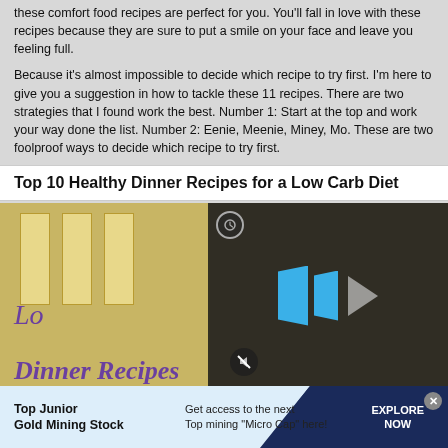these comfort food recipes are perfect for you. You'll fall in love with these recipes because they are sure to put a smile on your face and leave you feeling full.
Because it's almost impossible to decide which recipe to try first. I'm here to give you a suggestion in how to tackle these 11 recipes. There are two strategies that I found work the best. Number 1: Start at the top and work your way done the list. Number 2: Eenie, Meenie, Miney, Mo. These are two foolproof ways to decide which recipe to try first.
Top 10 Healthy Dinner Recipes for a Low Carb Diet
[Figure (screenshot): A composite image showing a book cover with golden columns and purple italic text reading 'Lo... Dinner Recipes', overlaid with a video player UI showing blue play bars and triangle on dark background, plus a mute icon and a circular icon.]
Top Junior Gold Mining Stock | Get access to the next Top mining "Micro Cap" here! | EXPLORE NOW